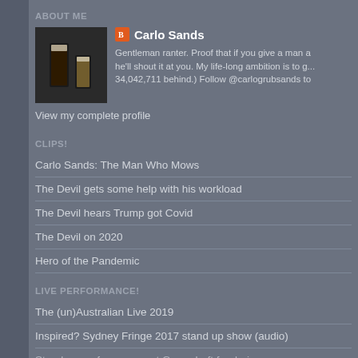ABOUT ME
Carlo Sands — Gentleman ranter. Proof that if you give a man a he'll shout it at you. My life-long ambition is to g... 34,042,711 behind.) Follow @carlogrubsands to
View my complete profile
CLIPS!
Carlo Sands: The Man Who Mows
The Devil gets some help with his workload
The Devil hears Trump got Covid
The Devil on 2020
Hero of the Pandemic
LIVE PERFORMANCE!
The (un)Australian Live 2019
Inspired? Sydney Fringe 2017 stand up show (audio)
Stand up performances at Green Left fundraisers